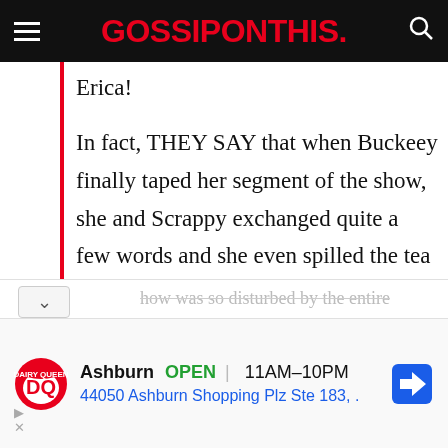GOSSIPONTHIS.
Erica!
In fact, THEY SAY that when Buckeey finally taped her segment of the show, she and Scrappy exchanged quite a few words and she even spilled the tea about him having a few bills IN HER NAME?!?
how was so disturbed by the entire
[Figure (other): Advertisement banner for Dairy Queen (DQ) showing logo, Ashburn location open 11AM-10PM, address 44050 Ashburn Shopping Plz Ste 183, and a map direction icon.]